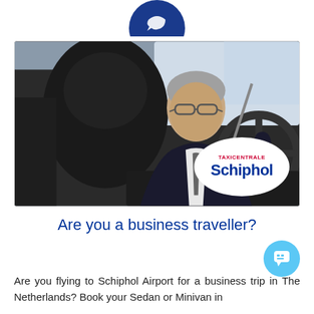[Figure (logo): Partial blue circle with white arrow/icon at the top of the page]
[Figure (photo): Photo of a businessman in a dark suit adjusting his seatbelt inside a car. Taxicentrale Schiphol logo overlaid in bottom-right corner on a white circular background.]
Are you a business traveller?
Are you flying to Schiphol Airport for a business trip in The Netherlands? Book your Sedan or Minivan in